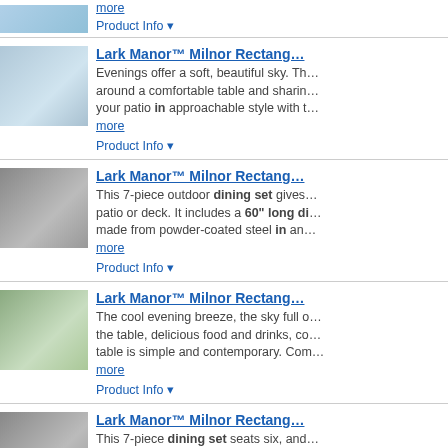[Figure (photo): Truncated product image of outdoor patio dining set (top portion cut off)]
more
Product Info ▼
Lark Manor™ Milnor Rectan...
Evenings offer a soft, beautiful sky. Th... around a comfortable table and sharin... your patio in approachable style with t... more
Product Info ▼
Lark Manor™ Milnor Rectan...
[Figure (photo): Outdoor 7-piece black metal dining set on a patio with white walls]
This 7-piece outdoor dining set gives ... patio or deck. It includes a 60" long di... made from powder-coated steel in an... more
Product Info ▼
Lark Manor™ Milnor Rectan...
[Figure (photo): Outdoor dining set on a patio with garden greenery in background]
The cool evening breeze, the sky full o... the table, delicious food and drinks, co... table is simple and contemporary. Com... more
Product Info ▼
Lark Manor™ Milnor Rectan...
[Figure (photo): Partial view of outdoor dining set with black metal chairs on patio]
This 7-piece dining set seats six, and ... kitchen - a sleek look for your eating sp... coated metal that's weather-, water-, a...